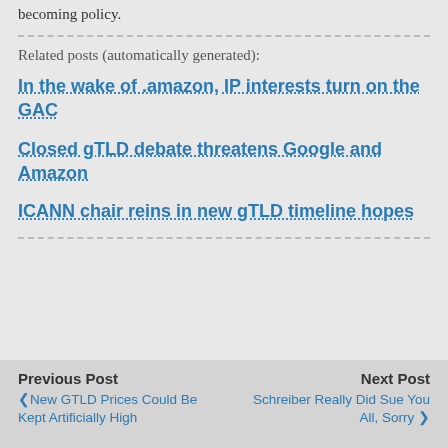becoming policy.
Related posts (automatically generated):
In the wake of .amazon, IP interests turn on the GAC
Closed gTLD debate threatens Google and Amazon
ICANN chair reins in new gTLD timeline hopes
Previous Post: ❮ New GTLD Prices Could Be Kept Artificially High | Next Post: Schreiber Really Did Sue You All, Sorry ❯